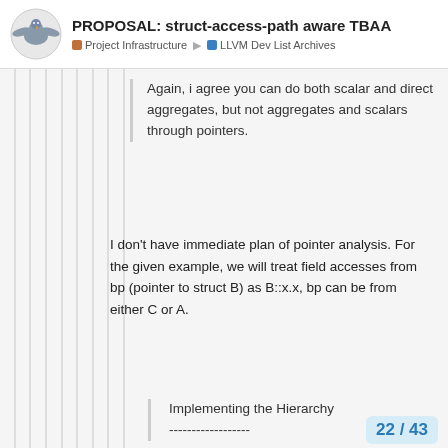PROPOSAL: struct-access-path aware TBAA | Project Infrastructure | LLVM Dev List Archives
Again, i agree you can do both scalar and direct aggregates, but not aggregates and scalars through pointers.
I don't have immediate plan of pointer analysis. For the given example, we will treat field accesses from bp (pointer to struct B) as B::x.x, bp can be from either C or A.
Implementing the Hierarchy
------------------
22 / 43